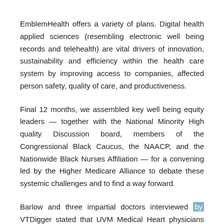EmblemHealth offers a variety of plans. Digital health applied sciences (resembling electronic well being records and telehealth) are vital drivers of innovation, sustainability and efficiency within the health care system by improving access to companies, affected person safety, quality of care, and productiveness.
Final 12 months, we assembled key well being equity leaders — together with the National Minority High quality Discussion board, members of the Congressional Black Caucus, the NAACP, and the Nationwide Black Nurses Affiliation — for a convening led by the Higher Medicare Alliance to debate these systemic challenges and to find a way forward.
Barlow and three impartial doctors interviewed by VTDigger stated that UVM Medical Heart physicians won't refer patients to them — even when the price is lower and